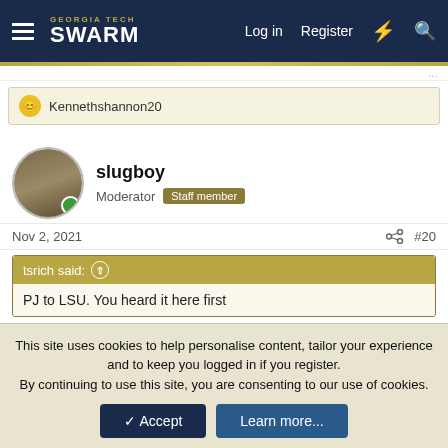Georgia Tech Swarm — Log in  Register
Kennethshannon20
slugboy
Moderator  Staff member
Nov 2, 2021  #20
tsrich said:
PJ to LSU. You heard it here first
Maybe to Ole Miss when Lane goes to LSU
This site uses cookies to help personalise content, tailor your experience and to keep you logged in if you register.
By continuing to use this site, you are consenting to our use of cookies.
Accept  Learn more...